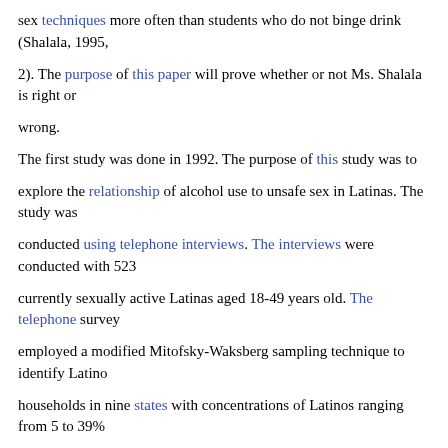sex techniques more often than students who do not binge drink (Shalala, 1995,
2). The purpose of this paper will prove whether or not Ms. Shalala is right or
wrong.
The first study was done in 1992. The purpose of this study was to
explore the relationship of alcohol use to unsafe sex in Latinas. The study was
conducted using telephone interviews. The interviews were conducted with 523
currently sexually active Latinas aged 18-49 years old. The telephone survey
employed a modified Mitofsky-Waksberg sampling technique to identify Latino
households in nine states with concentrations of Latinos ranging from 5 to 39%
in New York, New Jersey, Massachusetts, Connecticut, California